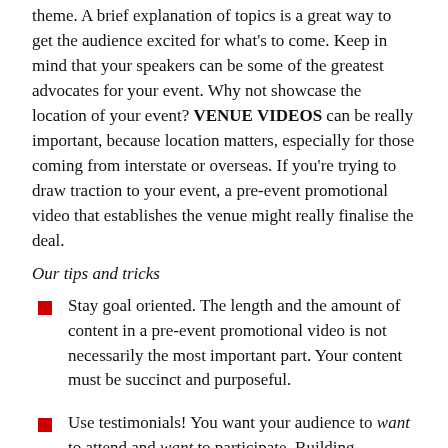theme. A brief explanation of topics is a great way to get the audience excited for what's to come. Keep in mind that your speakers can be some of the greatest advocates for your event. Why not showcase the location of your event? VENUE VIDEOS can be really important, because location matters, especially for those coming from interstate or overseas. If you're trying to draw traction to your event, a pre-event promotional video that establishes the venue might really finalise the deal.
Our tips and tricks
Stay goal oriented. The length and the amount of content in a pre-event promotional video is not necessarily the most important part. Your content must be succinct and purposeful.
Use testimonials! You want your audience to want to attend and want to participate. Building authenticity is key when trying to achieve that.
Stay true to the essence of your event. Don't use